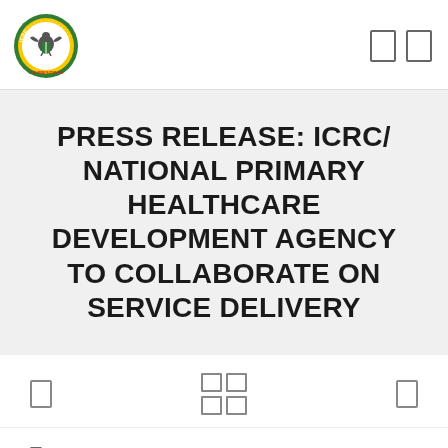[Figure (logo): Nigerian government coat of arms / ICRC seal - circular logo with eagle and shield, green and gold colors, text around border reading 'THE PRESIDENCY']
PRESS RELEASE: ICRC/ NATIONAL PRIMARY HEALTHCARE DEVELOPMENT AGENCY TO COLLABORATE ON SERVICE DELIVERY
30/07/2015
Abuja, Nigeria, 30 July 2015: Director General of the ICRC...